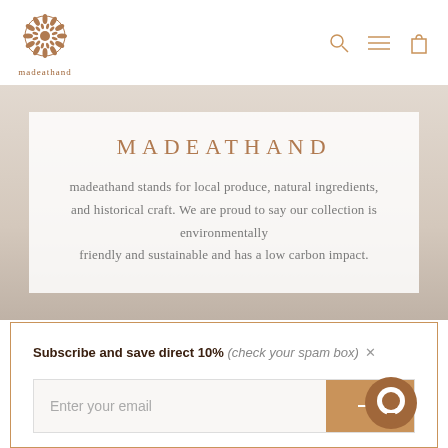madeathand
MADEATHAND
madeathand stands for local produce, natural ingredients, and historical craft. We are proud to say our collection is environmentally friendly and sustainable and has a low carbon impact.
Subscribe and save direct 10% (check your spam box)